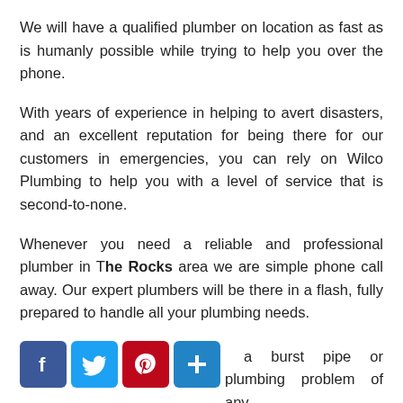We will have a qualified plumber on location as fast as is humanly possible while trying to help you over the phone.
With years of experience in helping to avert disasters, and an excellent reputation for being there for our customers in emergencies, you can rely on Wilco Plumbing to help you with a level of service that is second-to-none.
Whenever you need a reliable and professional plumber in The Rocks area we are simple phone call away. Our expert plumbers will be there in a flash, fully prepared to handle all your plumbing needs.
...a burst pipe or plumbing problem of any kind call Wilco Plumbing The Rocks now on 1300 79 39...